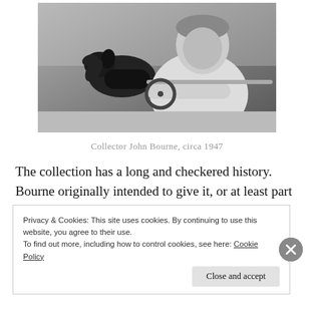[Figure (photo): Black and white photograph of a young man (Collector John Bourne) leaning on a car window with a dachshund dog beside him, circa 1947]
Collector John Bourne, circa 1947
The collection has a long and checkered history. Bourne originally intended to give it, or at least part of it, to the Museum of New Mexico's Palace of the Governors unit in Santa Fe, which it first declined, and it for some time was fine…
Privacy & Cookies: This site uses cookies. By continuing to use this website, you agree to their use.
To find out more, including how to control cookies, see here: Cookie Policy